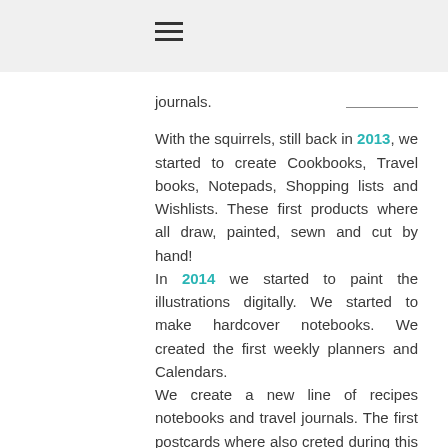≡
journals.
With the squirrels, still back in 2013, we started to create Cookbooks, Travel books, Notepads, Shopping lists and Wishlists. These first products where all draw, painted, sewn and cut by hand! In 2014 we started to paint the illustrations digitally. We started to make hardcover notebooks. We created the first weekly planners and Calendars. We create a new line of recipes notebooks and travel journals. The first postcards where also creted during this year. In March of 2015 my friend left this project to dedicate herself to others.